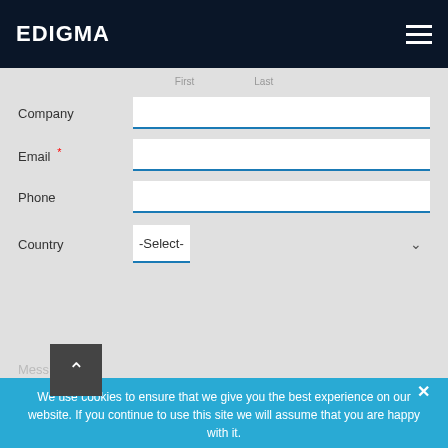EDIGMA
First    Last
Company
Email *
Phone
Country - Select -
City
Message
We use cookies to ensure that we give you the best experience on our website. If you continue to use this site we will assume that you are happy with it.